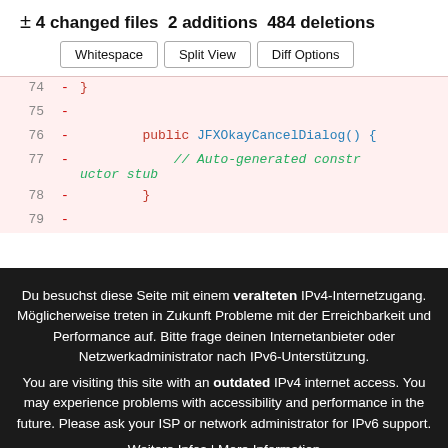± 4 changed files 2 additions 484 deletions
[Figure (screenshot): Diff view buttons: Whitespace, Split View, Diff Options]
74 - }
75 -
76 -         public JFXOkayCancelDialog() {
77 -             // Auto-generated constructor stub
78 -             }
79 -
Du besuchst diese Seite mit einem veralteten IPv4-Internetzugang. Möglicherweise treten in Zukunft Probleme mit der Erreichbarkeit und Performance auf. Bitte frage deinen Internetanbieter oder Netzwerkadministrator nach IPv6-Unterstützung.
You are visiting this site with an outdated IPv4 internet access. You may experience problems with accessibility and performance in the future. Please ask your ISP or network administrator for IPv6 support.
Weitere Infos | More Information
Klicke zum schließen | Click to close